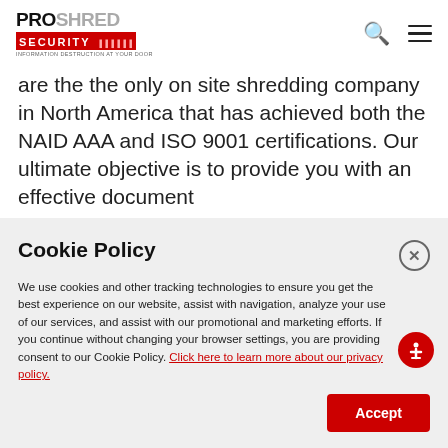[Figure (logo): PROSHRED SECURITY logo with red background on SECURITY text and tagline 'INFORMATION DESTRUCTION AT YOUR DOOR']
are the the only on site shredding company in North America that has achieved both the NAID AAA and ISO 9001 certifications. Our ultimate objective is to provide you with an effective document
Cookie Policy
We use cookies and other tracking technologies to ensure you get the best experience on our website, assist with navigation, analyze your use of our services, and assist with our promotional and marketing efforts. If you continue without changing your browser settings, you are providing consent to our Cookie Policy. Click here to learn more about our privacy policy.